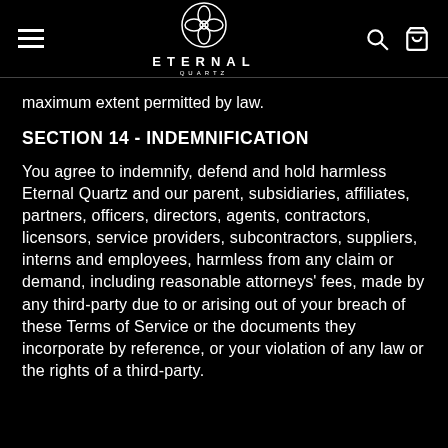ETERNAL QUARTZ
maximum extent permitted by law.
SECTION 14 - INDEMNIFICATION
You agree to indemnify, defend and hold harmless Eternal Quartz and our parent, subsidiaries, affiliates, partners, officers, directors, agents, contractors, licensors, service providers, subcontractors, suppliers, interns and employees, harmless from any claim or demand, including reasonable attorneys' fees, made by any third-party due to or arising out of your breach of these Terms of Service or the documents they incorporate by reference, or your violation of any law or the rights of a third-party.